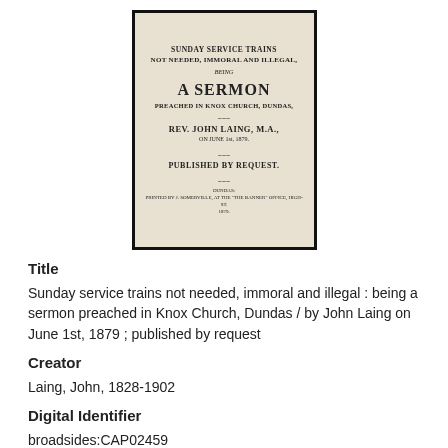[Figure (photo): Scanned cover of a pamphlet titled 'Sunday Service Trains Not Needed, Immoral and Illegal: Being A Sermon Preached in Knox Church, Dundas / by Rev. John Laing, M.A., on June 1st, 1879; Published by Request']
Title
Sunday service trains not needed, immoral and illegal : being a sermon preached in Knox Church, Dundas / by John Laing on June 1st, 1879 ; published by request
Creator
Laing, John, 1828-1902
Digital Identifier
broadsides:CAP02459